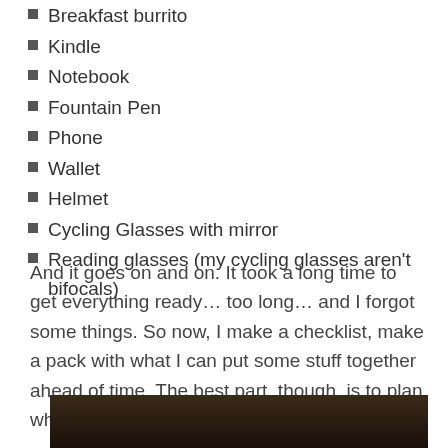Breakfast burrito
Kindle
Notebook
Fountain Pen
Phone
Wallet
Helmet
Cycling Glasses with mirror
Reading glasses (my cycling glasses aren't bifocals)
And it goes on and on. It took a long time to get everything ready… too long… and I forgot some things. So now, I make a checklist, make a pack with what I can put some stuff together ahead of time. The best part, though, is to plan where I'm going tomorrow morning.
[Figure (photo): Dark photo, partially visible at bottom of page, appears to be a dimly lit scene]